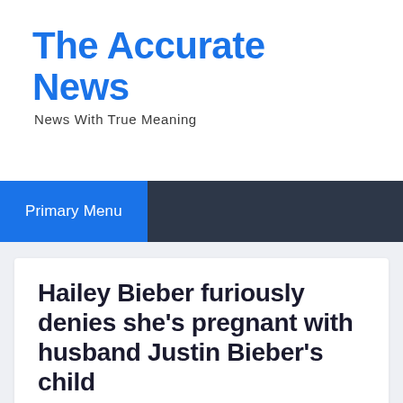The Accurate News
News With True Meaning
Primary Menu
Hailey Bieber furiously denies she's pregnant with husband Justin Bieber's child